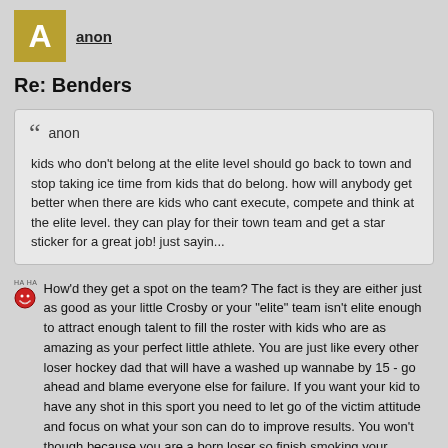anon
Re: Benders
anon

kids who don't belong at the elite level should go back to town and stop taking ice time from kids that do belong. how will anybody get better when there are kids who cant execute, compete and think at the elite level. they can play for their town team and get a star sticker for a great job! just sayin...
How'd they get a spot on the team? The fact is they are either just as good as your little Crosby or your "elite" team isn't elite enough to attract enough talent to fill the roster with kids who are as amazing as your perfect little athlete. You are just like every other loser hockey dad that will have a washed up wannabe by 15 - go ahead and blame everyone else for failure. If you want your kid to have any shot in this sport you need to let go of the victim attitude and focus on what your son can do to improve results. You won't though because you are a born loser so finish smoking your